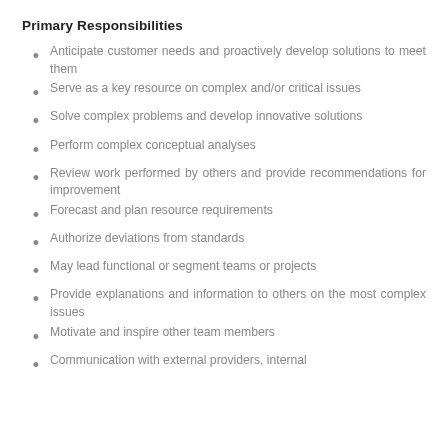Primary Responsibilities
Anticipate customer needs and proactively develop solutions to meet them
Serve as a key resource on complex and/or critical issues
Solve complex problems and develop innovative solutions
Perform complex conceptual analyses
Review work performed by others and provide recommendations for improvement
Forecast and plan resource requirements
Authorize deviations from standards
May lead functional or segment teams or projects
Provide explanations and information to others on the most complex issues
Motivate and inspire other team members
Communication with external providers, internal